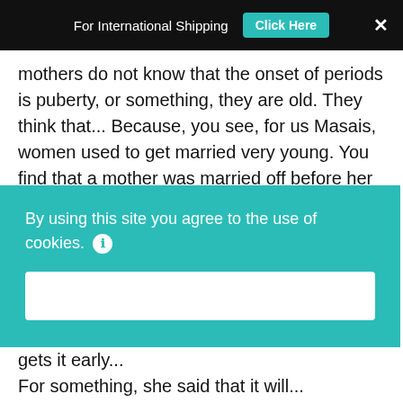For International Shipping  Click Here  ×
mothers do not know that the onset of periods is puberty, or something, they are old. They think that... Because, you see, for us Masais, women used to get married very young. You find that a mother was married off before her period. Then, she started having sex, then the period came. So, for her, she knows when you start having sex is when your period comes.
So, it's not a stage?
By using this site you agree to the use of cookies.  OK
That if my daughter gets a period, and if she gets it early... For something  something  something...